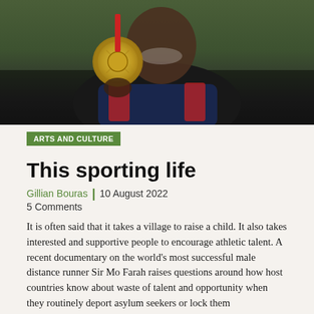[Figure (photo): Athlete smiling and holding up a gold medal, wearing a team GB jacket with red, white and blue colours. Background is green/dark.]
ARTS AND CULTURE
This sporting life
Gillian Bouras | 10 August 2022
5 Comments
It is often said that it takes a village to raise a child. It also takes interested and supportive people to encourage athletic talent. A recent documentary on the world's most successful male distance runner Sir Mo Farah raises questions around how host countries know about waste of talent and opportunity when they routinely deport asylum seekers or lock them